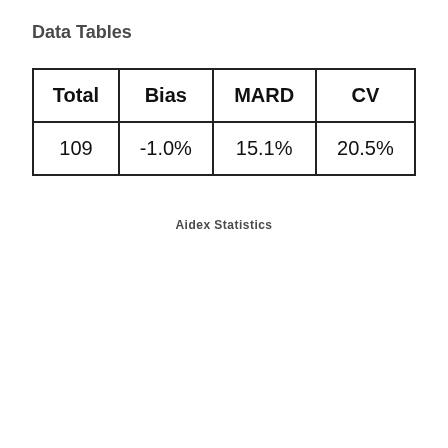Data Tables
| Total | Bias | MARD | CV |
| --- | --- | --- | --- |
| 109 | -1.0% | 15.1% | 20.5% |
Aidex Statistics